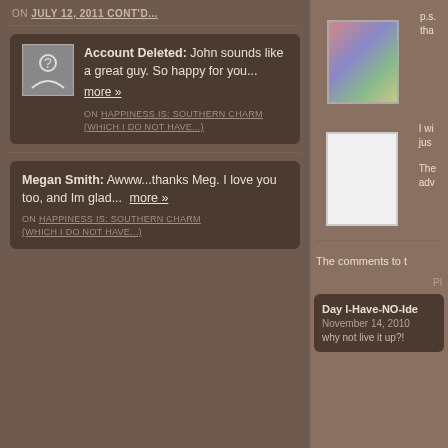ON JULY 12, 2011 CONT'D...
Account Deleted: John sounds like a great guy. So happy for you... more »
ON HAPPINESS IS: SOUTHERN CHARM (WHICH I DO NOT HAVE...)
Megan Smith: Awww...thanks Meg. I love you too, and Im glad... more »
ON HAPPINESS IS: SOUTHERN CHARM (WHICH I DO NOT HAVE...)
p.s. tha
I wi jus
The adv
The comments to t
PL
Day I-Have-NO-Ide
November 14, 2010
why not live it up?!